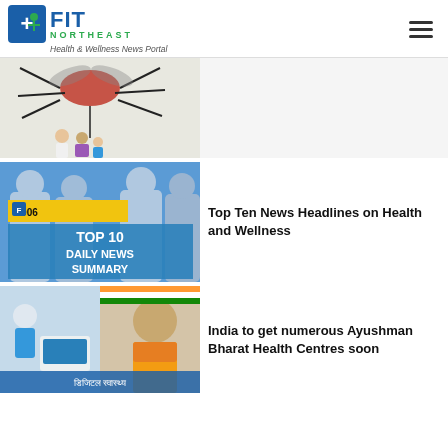FIT NORTHEAST — Health & Wellness News Portal
[Figure (illustration): Mosquito illustration with frightened family cartoon, partially cropped at top]
[Figure (photo): Healthcare workers in PPE suits with yellow text overlay: #D06, TOP 10 DAILY NEWS SUMMARY on blue background]
Top Ten News Headlines on Health and Wellness
[Figure (photo): Photo of Indian PM with Ayushman Bharat health scheme text in Hindi]
India to get numerous Ayushman Bharat Health Centres soon